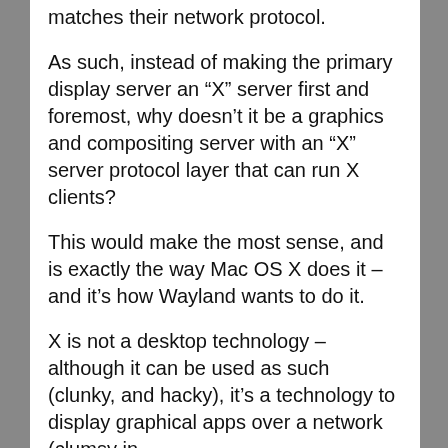matches their network protocol.
As such, instead of making the primary display server an “X” server first and foremost, why doesn’t it be a graphics and compositing server with an “X” server protocol layer that can run X clients?
This would make the most sense, and is exactly the way Mac OS X does it – and it’s how Wayland wants to do it.
X is not a desktop technology – although it can be used as such (clunky, and hacky), it’s a technology to display graphical apps over a network (clumsy in